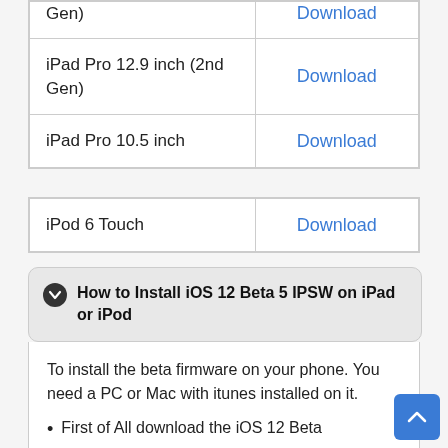| Device | Link |
| --- | --- |
| Gen) | Download |
| iPad Pro 12.9 inch (2nd Gen) | Download |
| iPad Pro 10.5 inch | Download |
| Device | Link |
| --- | --- |
| iPod 6 Touch | Download |
How to Install iOS 12 Beta 5 IPSW on iPad or iPod
To install the beta firmware on your phone. You need a PC or Mac with itunes installed on it.
First of All download the iOS 12 Beta